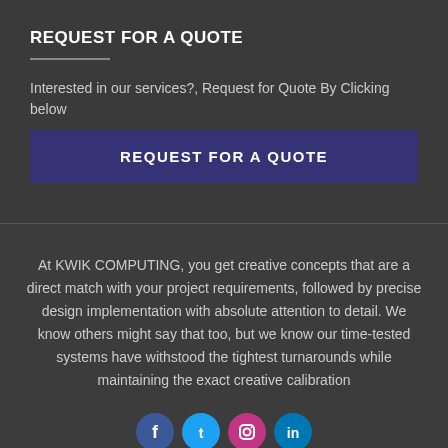REQUEST FOR A QUOTE
Interested in our services?, Request for Quote By Clicking below
REQUEST FOR A QUOTE
At KWIK COMPUTING, you get creative concepts that are a direct match with your project requirements, followed by precise design implementation with absolute attention to detail. We know others might say that too, but we know our time-tested systems have withstood the tightest turnarounds while maintaining the exact creative calibration
[Figure (infographic): Social media icons: Facebook (blue circle), Twitter (light blue circle), Instagram (pink/magenta circle), LinkedIn (blue circle)]